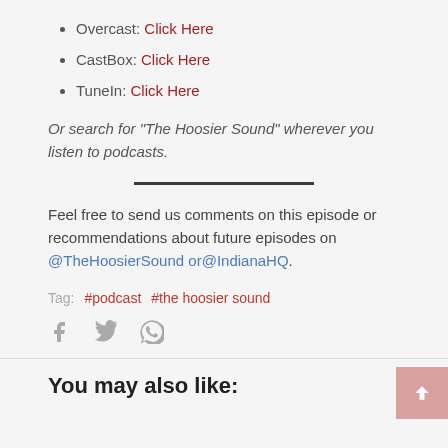Overcast: Click Here
CastBox: Click Here
TuneIn: Click Here
Or search for “The Hoosier Sound” wherever you listen to podcasts.
Feel free to send us comments on this episode or recommendations about future episodes on @TheHoosierSound or@IndianaHQ.
Tag:   #podcast   #the hoosier sound
You may also like: